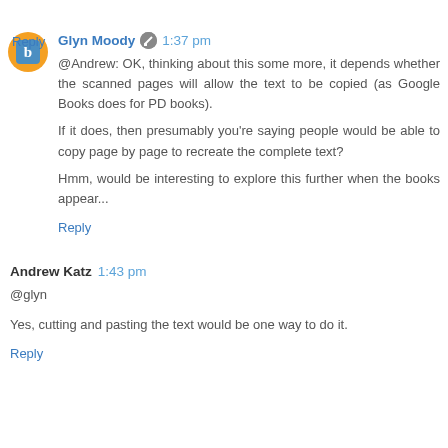Reply
Glyn Moody  1:37 pm
@Andrew: OK, thinking about this some more, it depends whether the scanned pages will allow the text to be copied (as Google Books does for PD books).

If it does, then presumably you're saying people would be able to copy page by page to recreate the complete text?

Hmm, would be interesting to explore this further when the books appear...
Reply
Andrew Katz  1:43 pm
@glyn
Yes, cutting and pasting the text would be one way to do it.
Reply